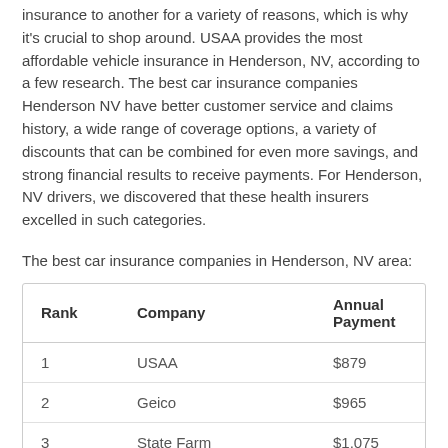insurance to another for a variety of reasons, which is why it's crucial to shop around. USAA provides the most affordable vehicle insurance in Henderson, NV, according to a few research. The best car insurance companies Henderson NV have better customer service and claims history, a wide range of coverage options, a variety of discounts that can be combined for even more savings, and strong financial results to receive payments. For Henderson, NV drivers, we discovered that these health insurers excelled in such categories.
The best car insurance companies in Henderson, NV area:
| Rank | Company | Annual Payment |
| --- | --- | --- |
| 1 | USAA | $879 |
| 2 | Geico | $965 |
| 3 | State Farm | $1,075 |
| 4 | Allstate | $1,148 |